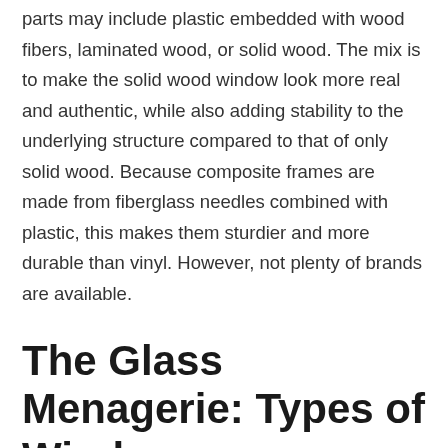parts may include plastic embedded with wood fibers, laminated wood, or solid wood. The mix is to make the solid wood window look more real and authentic, while also adding stability to the underlying structure compared to that of only solid wood. Because composite frames are made from fiberglass needles combined with plastic, this makes them sturdier and more durable than vinyl. However, not plenty of brands are available.
The Glass Menagerie: Types of Windows
Aside from the materials used to design the windows, other factors include how many windows are added, the type of hinges, amount of ventilation the windows provide, and how